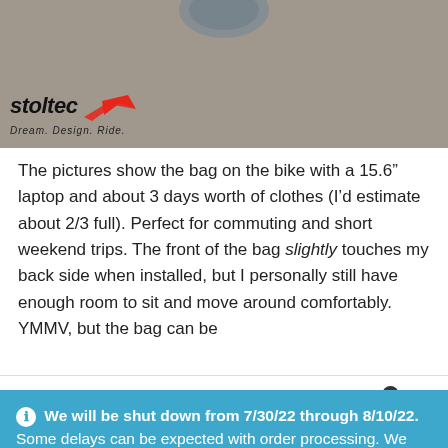[Figure (photo): Product photo showing a bike bag on a bicycle, with the Stoltec brand logo and 'Dream. Design. Ride.' tagline visible at the bottom left of the image.]
The pictures show the bag on the bike with a 15.6" laptop and about 3 days worth of clothes (I'd estimate about 2/3 full). Perfect for commuting and short weekend trips. The front of the bag slightly touches my back side when installed, but I personally still have enough room to sit and move around comfortably. YMMV, but the bag can be
We will be shut down from 7/30/22 through 8/10/22. Some delays can be expected with order processing. We appreciate your understanding.
Dismiss
[Figure (infographic): Bottom navigation bar with three icons: user/account icon, search icon, and shopping cart icon with badge showing '0'.]